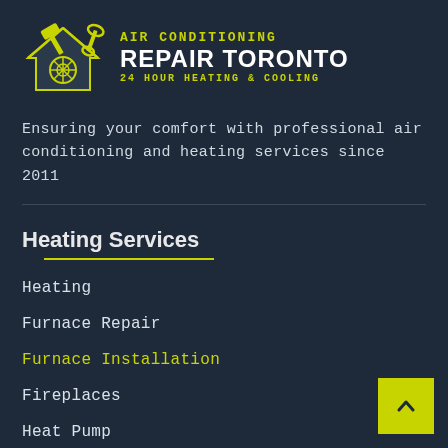[Figure (logo): Air Conditioning Repair Toronto logo with hammer and wrench tools over a house icon, yellow-green color scheme on dark navy background]
Ensuring your comfort with professional air conditioning and heating services since 2011
Heating Services
Heating
Furnace Repair
Furnace Installation
Fireplaces
Heat Pump
Furnace Maintenance